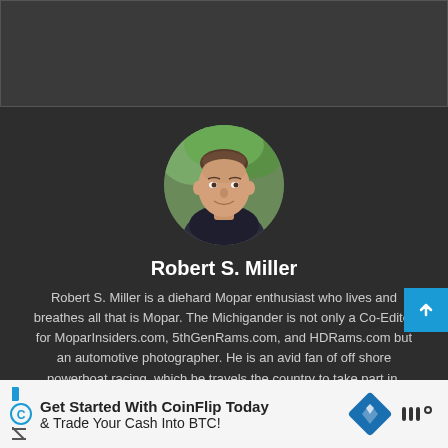[Figure (photo): Dark gray rectangular image bar at top of page]
[Figure (photo): Circular profile photo of Robert S. Miller, a man with short hair, smiling, with trees in background]
Robert S. Miller
Robert S. Miller is a diehard Mopar enthusiast who lives and breathes all that is Mopar. The Michigander is not only a Co-Editor for MoparInsiders.com, 5thGenRams.com, and HDRams.com but an automotive photographer. He is an avid fan of off shore powerboat racing, which he travels the country to take part in.
[Figure (infographic): Advertisement bar at bottom: Get Started With CoinFlip Today & Trade Your Cash Into BTC!]